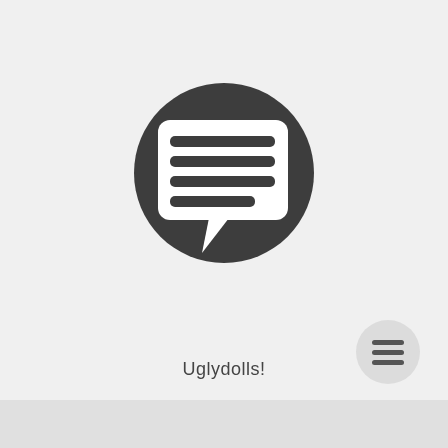[Figure (illustration): A dark gray circle containing a white speech bubble / chat icon with four horizontal lines inside it, representing a messaging or comment icon]
Uglydolls!
[Figure (illustration): A light gray circular button with three horizontal hamburger menu lines in dark gray]